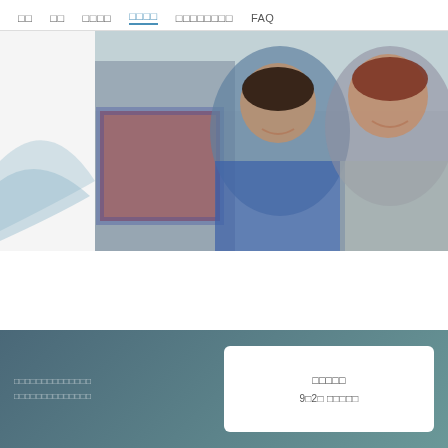□□  □□  □□□□  □□□□  □□□□□□□□  FAQ
[Figure (photo): Three office workers (two women and one man) looking together at something off-camera, smiling, in a bright office setting. A light blue decorative swoosh graphic is visible on the left side.]
□□□□□□□□□□□□□□
□□□□□□□□□□□□□□
□□□□□
9□2□ □□□□□